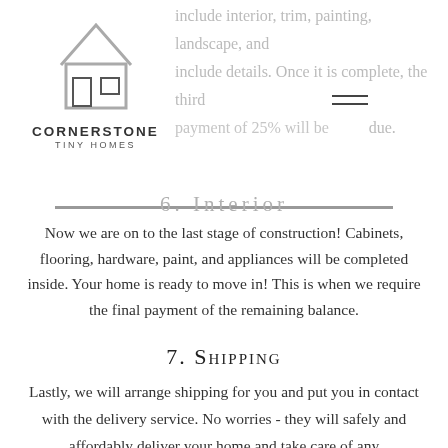[Figure (logo): Cornerstone Tiny Homes logo with house icon outline and company name]
include interior, trim, painting, landscaping, and include details. Once this is complete, the third payment of 25% will be due.
6. Interior
Now we are on to the last stage of construction! Cabinets, flooring, hardware, paint, and appliances will be completed inside. Your home is ready to move in! This is when we require the final payment of the remaining balance.
7. Shipping
Lastly, we will arrange shipping for you and put you in contact with the delivery service. No worries - they will safely and affordably deliver your home and take care of any permits.